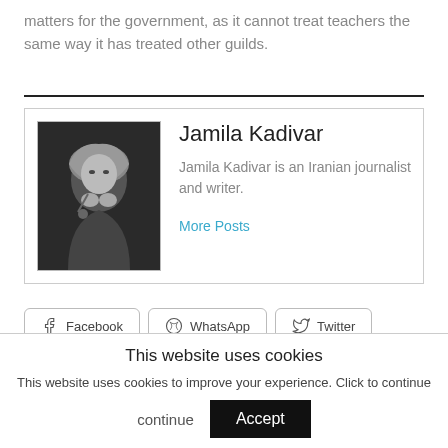matters for the government, as it cannot treat teachers the same way it has treated other guilds.
[Figure (photo): Black and white photo of Jamila Kadivar speaking at a microphone, hands clasped near face, wearing a headscarf]
Jamila Kadivar
Jamila Kadivar is an Iranian journalist and writer.
More Posts
Facebook
WhatsApp
Twitter
Telegram
This website uses cookies
This website uses cookies to improve your experience. Click to continue
Accept